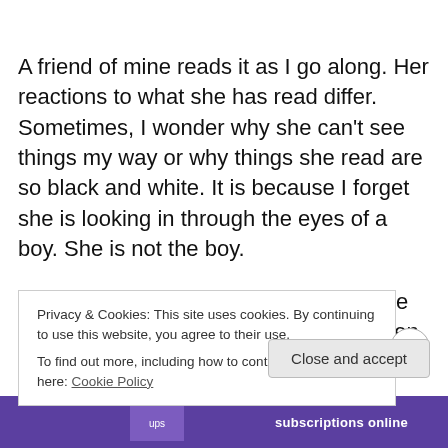A friend of mine reads it as I go along. Her reactions to what she has read differ. Sometimes, I wonder why she can't see things my way or why things she read are so black and white. It is because I forget she is looking in through the eyes of a boy. She is not the boy.
She read a chapter a few days ago; one where an official questioned me and then clearly walked away. She said that I got failed a lot and she was sorry for that. I think
Privacy & Cookies: This site uses cookies. By continuing to use this website, you agree to their use.
To find out more, including how to control cookies, see here: Cookie Policy
Close and accept
[Figure (other): Purple advertisement bar at the bottom with white text 'subscriptions online' and a logo]